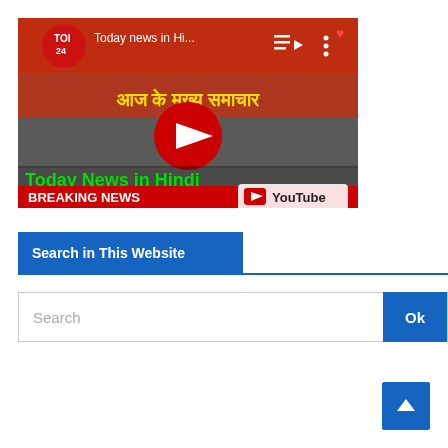[Figure (screenshot): YouTube video thumbnail for 'Today news in Hi...' from TOI 24 channel. Shows Hindi text 'आज के मुख्य समाचार' in yellow on red background, 'Today News in Hindi' in green bold text, 'BREAKING NEWS' banner at bottom, YouTube play button overlay in center, and YouTube logo watermark in bottom right.]
Search in This Website
Search